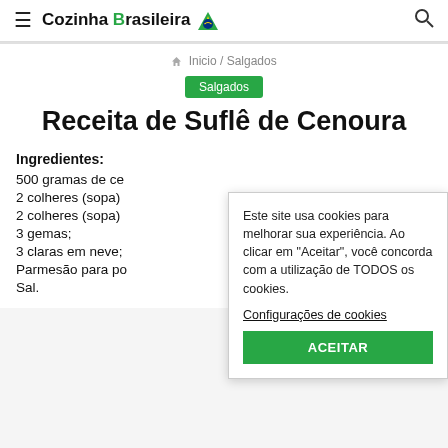≡ Cozinha Brasileira 🇧🇷 🔍
🏠 Inicio / Salgados
Salgados
Receita de Suflê de Cenoura
Ingredientes:
500 gramas de ce
2 colheres (sopa)
2 colheres (sopa)
3 gemas;
3 claras em neve;
Parmesão para po
Sal.
Este site usa cookies para melhorar sua experiência. Ao clicar em "Aceitar", você concorda com a utilização de TODOS os cookies.
Configurações de cookies
ACEITAR